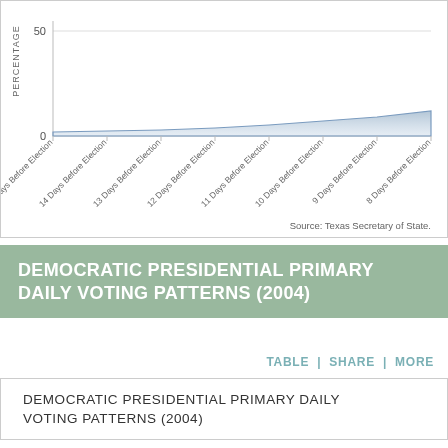[Figure (area-chart): ]
DEMOCRATIC PRESIDENTIAL PRIMARY DAILY VOTING PATTERNS (2004)
TABLE | SHARE | MORE
DEMOCRATIC PRESIDENTIAL PRIMARY DAILY VOTING PATTERNS (2004)